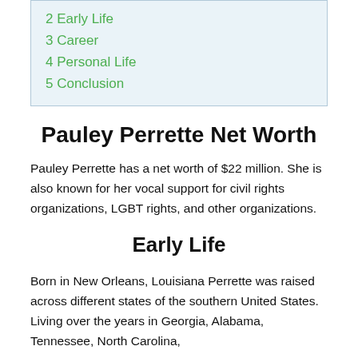2 Early Life
3 Career
4 Personal Life
5 Conclusion
Pauley Perrette Net Worth
Pauley Perrette has a net worth of $22 million. She is also known for her vocal support for civil rights organizations, LGBT rights, and other organizations.
Early Life
Born in New Orleans, Louisiana Perrette was raised across different states of the southern United States. Living over the years in Georgia, Alabama, Tennessee, North Carolina,